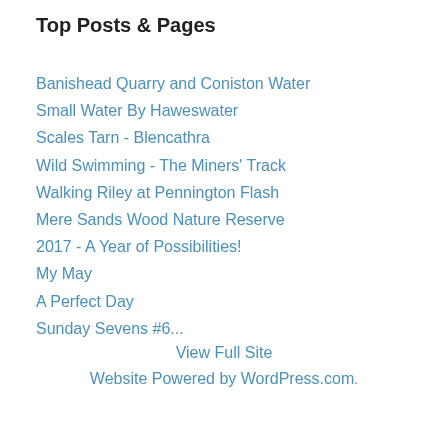Top Posts & Pages
Banishead Quarry and Coniston Water
Small Water By Haweswater
Scales Tarn - Blencathra
Wild Swimming - The Miners' Track
Walking Riley at Pennington Flash
Mere Sands Wood Nature Reserve
2017 - A Year of Possibilities!
My May
A Perfect Day
Sunday Sevens #6...
View Full Site
Website Powered by WordPress.com.